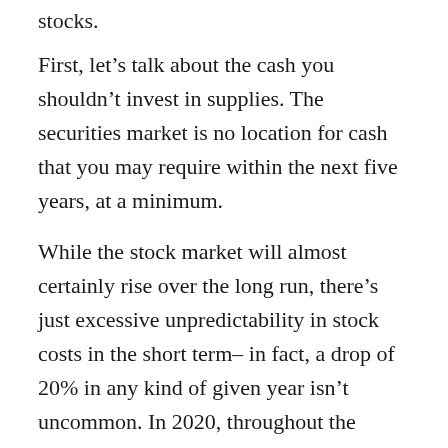stocks.
First, let's talk about the cash you shouldn't invest in supplies. The securities market is no location for cash that you may require within the next five years, at a minimum.
While the stock market will almost certainly rise over the long run, there's just excessive unpredictability in stock costs in the short term– in fact, a drop of 20% in any kind of given year isn't uncommon. In 2020, throughout the COVID-19 pandemic, the market plunged by more than 40% and also recoiled to an all-time high within a few months.
Your emergency fund.
Cash you'll need to make your kid's following tuition